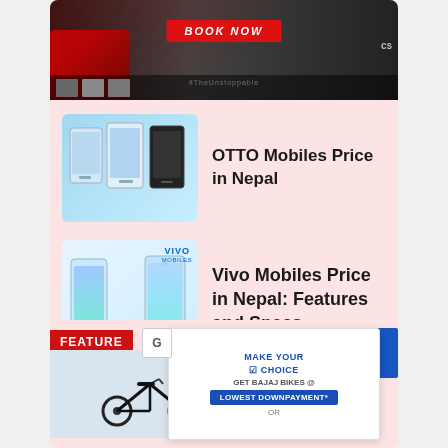[Figure (screenshot): Ad banner: motorcycle with BOOK NOW button, #TheUnstoppable text on dark/red background]
[Figure (screenshot): OTTO Mobiles product image showing multiple smartphones on light blue background]
OTTO Mobiles Price in Nepal
[Figure (screenshot): Vivo Mobiles product image showing multiple smartphones with VIVO MOBILES branding]
Vivo Mobiles Price in Nepal: Features and Specs
[Figure (screenshot): FEATURED section with Bajaj bikes advertisement overlay showing GET BAJAJ BIKES @ LOWEST DOWNPAYMENT* OR]
Xiaomi ... ions
□□□□□□□□